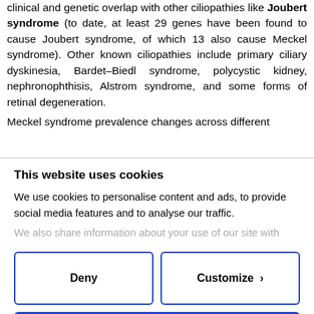clinical and genetic overlap with other ciliopathies like Joubert syndrome (to date, at least 29 genes have been found to cause Joubert syndrome, of which 13 also cause Meckel syndrome). Other known ciliopathies include primary ciliary dyskinesia, Bardet–Biedl syndrome, polycystic kidney, nephronophthisis, Alstrom syndrome, and some forms of retinal degeneration.
Meckel syndrome prevalence changes across different
This website uses cookies
We use cookies to personalise content and ads, to provide social media features and to analyse our traffic. We also share information about your use of our site with